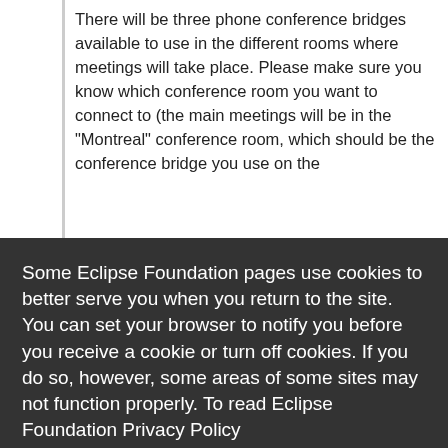There will be three phone conference bridges available to use in the different rooms where meetings will take place. Please make sure you know which conference room you want to connect to (the main meetings will be in the "Montreal" conference room, which should be the conference bridge you use on the
Some Eclipse Foundation pages use cookies to better serve you when you return to the site. You can set your browser to notify you before you receive a cookie or turn off cookies. If you do so, however, some areas of some sites may not function properly. To read Eclipse Foundation Privacy Policy click here.
Decline
Allow cookies
Face-to-face attendees